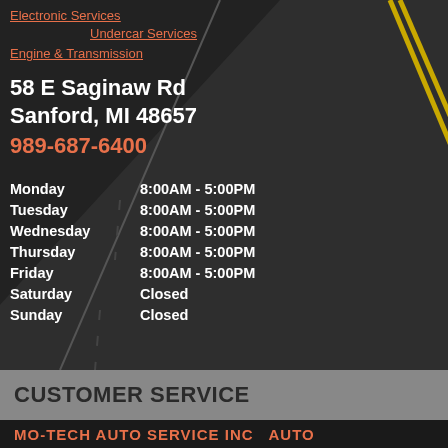Electronic Services
Undercar Services
Engine & Transmission
58 E Saginaw Rd
Sanford, MI 48657
989-687-6400
| Day | Hours |
| --- | --- |
| Monday | 8:00AM - 5:00PM |
| Tuesday | 8:00AM - 5:00PM |
| Wednesday | 8:00AM - 5:00PM |
| Thursday | 8:00AM - 5:00PM |
| Friday | 8:00AM - 5:00PM |
| Saturday | Closed |
| Sunday | Closed |
CUSTOMER SERVICE
MO-TECH AUTO SERVICE INC  ·  AUTO